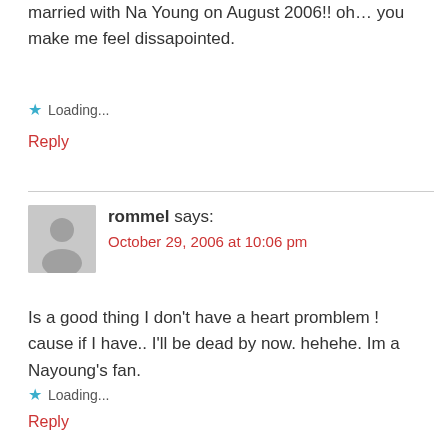married with Na Young on August 2006!! oh… you make me feel dissapointed.
Loading...
Reply
rommel says:
October 29, 2006 at 10:06 pm
Is a good thing I don't have a heart promblem ! cause if I have.. I'll be dead by now. hehehe. Im a Nayoung's fan.
Loading...
Reply